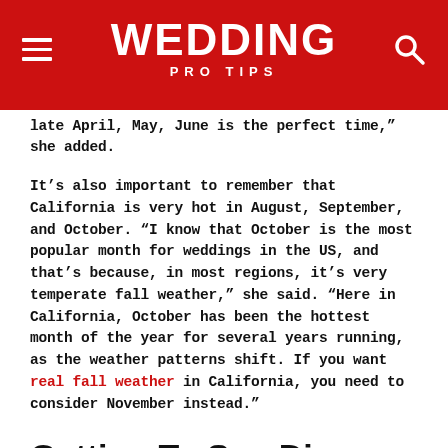WEDDING PRO TIPS
late April, May, June is the perfect time," she added.
It's also important to remember that California is very hot in August, September, and October. "I know that October is the most popular month for weddings in the US, and that's because, in most regions, it's very temperate fall weather," she said. "Here in California, October has been the hottest month of the year for several years running, as the weather patterns shift. If you want real fall weather in California, you need to consider November instead."
Getting To San Diego And About The Area
The San Diego International Airport is the best option for weddings in that area. Its a major international airport so its perfect for anyone arriving from within the United States or abroad. San Diego is